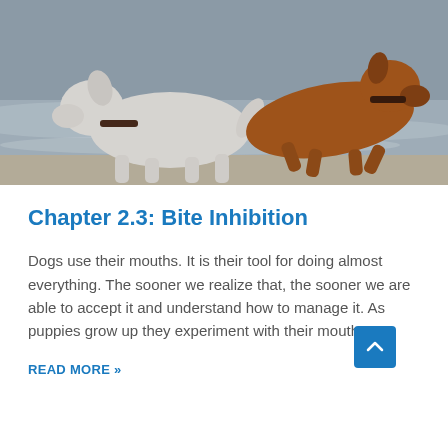[Figure (photo): Two dogs running on a beach — a white dog with a dark collar on the left and a brown/tan dog on the right, with ocean waves in the background.]
Chapter 2.3: Bite Inhibition
Dogs use their mouths. It is their tool for doing almost everything. The sooner we realize that, the sooner we are able to accept it and understand how to manage it. As puppies grow up they experiment with their mouths.
READ MORE »